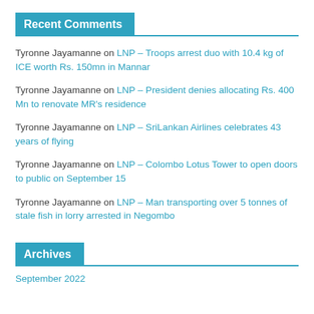Recent Comments
Tyronne Jayamanne on LNP – Troops arrest duo with 10.4 kg of ICE worth Rs. 150mn in Mannar
Tyronne Jayamanne on LNP – President denies allocating Rs. 400 Mn to renovate MR's residence
Tyronne Jayamanne on LNP – SriLankan Airlines celebrates 43 years of flying
Tyronne Jayamanne on LNP – Colombo Lotus Tower to open doors to public on September 15
Tyronne Jayamanne on LNP – Man transporting over 5 tonnes of stale fish in lorry arrested in Negombo
Archives
September 2022